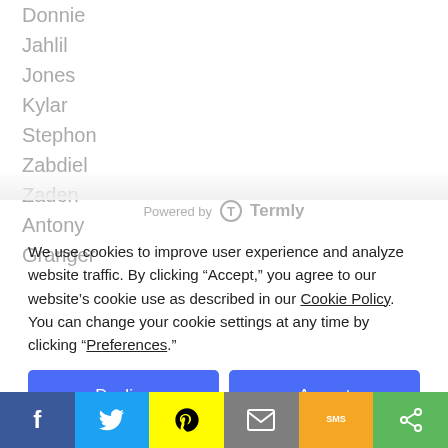Donnie
Jahlil
Jones
Kylar
Stephon
Zabdiel
Zaden
Antony
Granger
[Figure (logo): Powered by Termly logo with circular T icon]
We use cookies to improve user experience and analyze website traffic. By clicking “Accept,” you agree to our website’s cookie use as described in our Cookie Policy. You can change your cookie settings at any time by clicking “Preferences.”
Decline
Accept
Preferences
[Figure (other): Social sharing bar with Facebook, Twitter, Snapchat, Email, SMS, and Share icons]